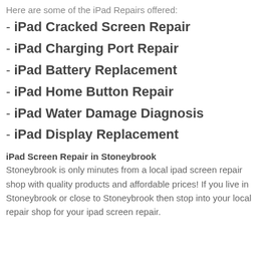Here are some of the iPad Repairs offered:
- iPad Cracked Screen Repair
- iPad Charging Port Repair
- iPad Battery Replacement
- iPad Home Button Repair
- iPad Water Damage Diagnosis
- iPad Display Replacement
iPad Screen Repair in Stoneybrook
Stoneybrook is only minutes from a local ipad screen repair shop with quality products and affordable prices! If you live in Stoneybrook or close to Stoneybrook then stop into your local repair shop for your ipad screen repair.